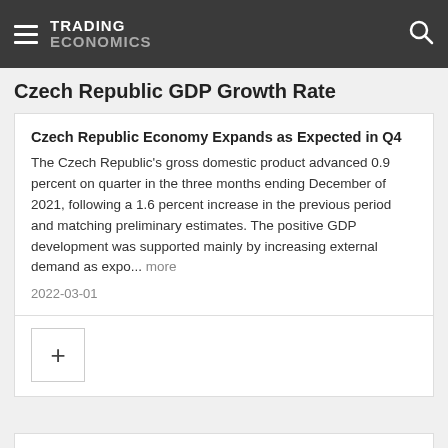TRADING ECONOMICS
Czech Republic GDP Growth Rate
Czech Republic Economy Expands as Expected in Q4
The Czech Republic's gross domestic product advanced 0.9 percent on quarter in the three months ending December of 2021, following a 1.6 percent increase in the previous period and matching preliminary estimates. The positive GDP development was supported mainly by increasing external demand as expo... more
2022-03-01
+
Related
Czech Republic Consumer...